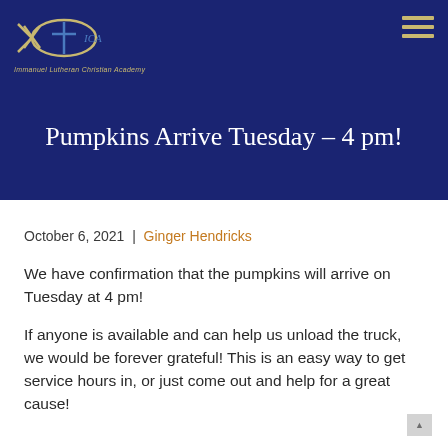[Figure (logo): Immanuel Lutheran Christian Academy logo — fish/cross emblem with text]
Pumpkins Arrive Tuesday – 4 pm!
October 6, 2021  |  Ginger Hendricks
We have confirmation that the pumpkins will arrive on Tuesday at 4 pm!
If anyone is available and can help us unload the truck, we would be forever grateful! This is an easy way to get service hours in, or just come out and help for a great cause!